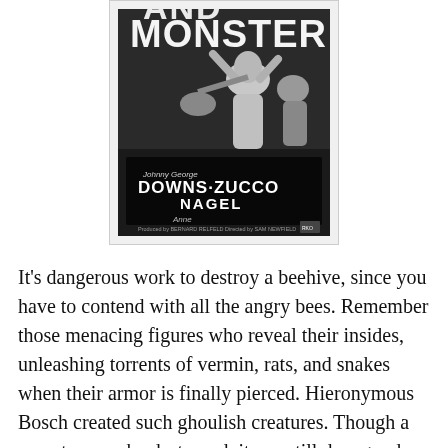[Figure (photo): Black and white movie poster showing a screaming person being grabbed by a monster, with text 'DOWNS · ZUCCO NAGEL' and credits for Johnny Downs, George Zucco, Anne Nagel. Produced by Bernard Relfeld, Directed by Sam Newfield.]
It's dangerous work to destroy a beehive, since you have to contend with all the angry bees. Remember those menacing figures who reveal their insides, unleashing torrents of vermin, rats, and snakes when their armor is finally pierced. Hieronymous Bosch created such ghoulish creatures. Though a monster may be destroyed, it can still do a good deal of damage on the way out. Petulant and retributive to the end, Donald Trump is turning out to be one of those ghouls who is not easy to fall. He's threatening...